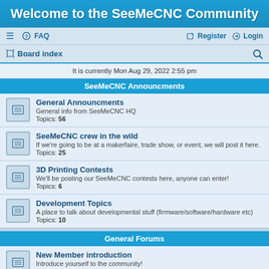Welcome to the SeeMeCNC Community
FAQ  Register  Login  Board index
It is currently Mon Aug 29, 2022 2:55 pm
SeeMeCNC Announcments
General Announcments
General info from SeeMeCNC HQ
Topics: 56
SeeMeCNC crew in the wild
If we're going to be at a makerfaire, trade show, or event, we will post it here.
Topics: 25
3D Printing Contests
We'll be posting our SeeMeCNC contests here, anyone can enter!
Topics: 6
Development Topics
A place to talk about developmental stuff (firmware/software/hardware etc)
Topics: 10
General Forums
New Member introduction
Introduce yourself to the community!
Topics: ???